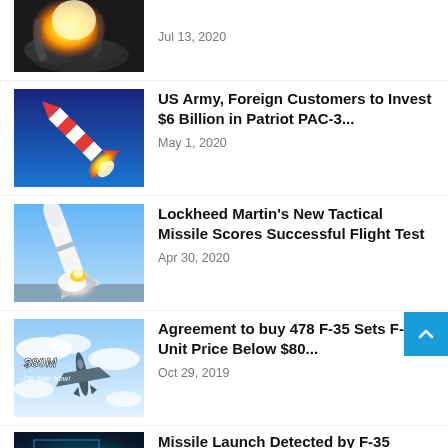[Figure (photo): Partial view of a missile or rocket launch with bright flame and smoke against dark background]
Jul 13, 2020
[Figure (photo): Red and white missile launching against a blue sky]
US Army, Foreign Customers to Invest $6 Billion in Patriot PAC-3...
May 1, 2020
[Figure (photo): White missile launching with smoke trail against blue sky]
Lockheed Martin's New Tactical Missile Scores Successful Flight Test
Apr 30, 2020
[Figure (photo): F-35 jet fighter aircraft with '$80M On Sale Now!' text overlay, flying against cloudy sky]
Agreement to buy 478 F-35 Sets F-35A Unit Price Below $80...
Oct 29, 2019
[Figure (photo): Partial view: satellite or aerial view with green/blue lights, plane silhouettes]
Missile Launch Detected by F-35 Provide Early Warning for Ballistic